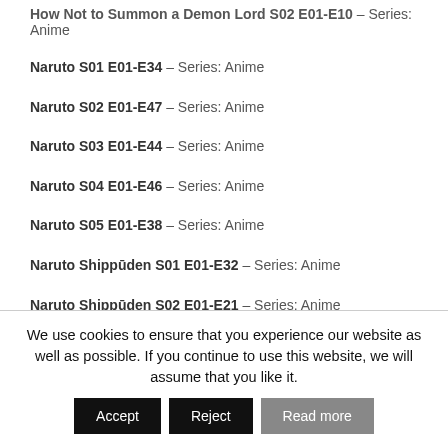How Not to Summon a Demon Lord S02 E01-E10 – Series: Anime
Naruto S01 E01-E34 – Series: Anime
Naruto S02 E01-E47 – Series: Anime
Naruto S03 E01-E44 – Series: Anime
Naruto S04 E01-E46 – Series: Anime
Naruto S05 E01-E38 – Series: Anime
Naruto Shippūden S01 E01-E32 – Series: Anime
Naruto Shippūden S02 E01-E21 – Series: Anime
We use cookies to ensure that you experience our website as well as possible. If you continue to use this website, we will assume that you like it.
Accept | Reject | Read more